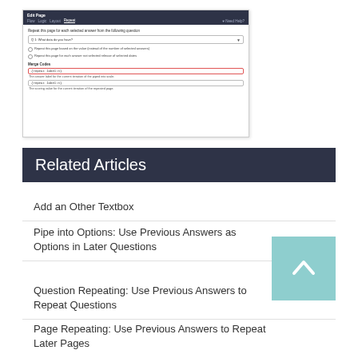[Figure (screenshot): Screenshot of an Edit Page interface showing a 'Repeat' tab with options for repeating a page for each selected answer from a question (Q1: What data do you have?), radio buttons for repeat options, and Merge Codes section with code boxes]
Related Articles
Add an Other Textbox
Pipe into Options: Use Previous Answers as Options in Later Questions
Question Repeating: Use Previous Answers to Repeat Questions
Page Repeating: Use Previous Answers to Repeat Later Pages